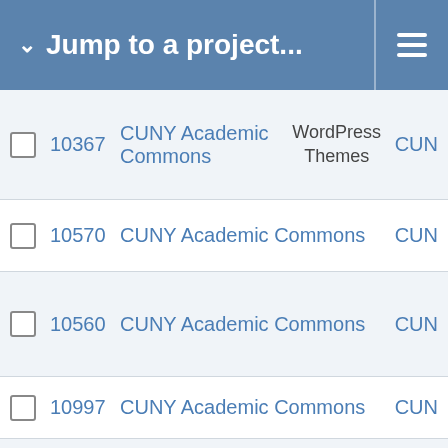Jump to a project...
10367  CUNY Academic Commons  WordPress Themes  CUN
10570  CUNY Academic Commons  CUN
10560  CUNY Academic Commons  CUN
10997  CUNY Academic Commons  CUN
10049  CUNY Academic Commons  WordPress (misc)  CUN